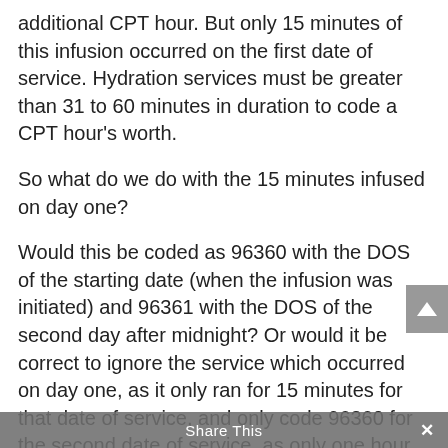additional CPT hour. But only 15 minutes of this infusion occurred on the first date of service. Hydration services must be greater than 31 to 60 minutes in duration to code a CPT hour's worth.
So what do we do with the 15 minutes infused on day one?
Would this be coded as 96360 with the DOS of the starting date (when the infusion was initiated) and 96361 with the DOS of the second day after midnight? Or would it be correct to ignore the service which occurred on day one, as it only ran for 15 minutes for that date of service, and only code 96360 for the second date of service, as only one hour and 20 minutes of infusion occurred on that date? Or would we capture 96360 and 96361 both on day 2 as that's when each of the services were